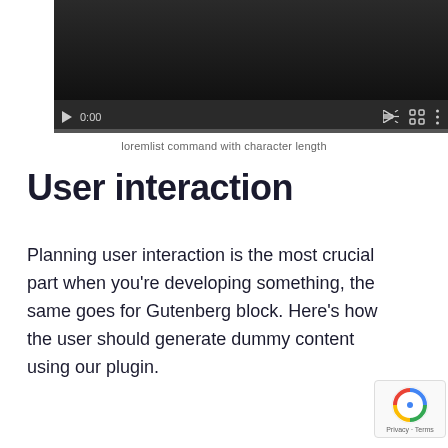[Figure (screenshot): Video player with dark background, play button, time 0:00, volume icon, fullscreen icon, options icon, and progress bar at bottom]
loremlist command with character length
User interaction
Planning user interaction is the most crucial part when you're developing something, the same goes for Gutenberg block. Here's how the user should generate dummy content using our plugin.